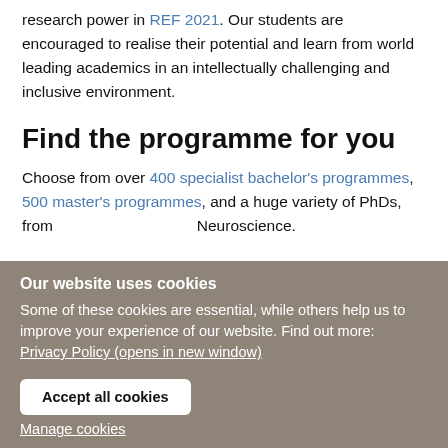research power in REF 2021. Our students are encouraged to realise their potential and learn from world leading academics in an intellectually challenging and inclusive environment.
Find the programme for you
Choose from over 400 specialist bachelor's programmes, 500 master's programmes, and a huge variety of PhDs, from … to Neuroscience.
Cookie settings
Our website uses cookies
Some of these cookies are essential, while others help us to improve your experience of our website. Find out more: Privacy Policy (opens in new window)
Accept all cookies
Manage cookies